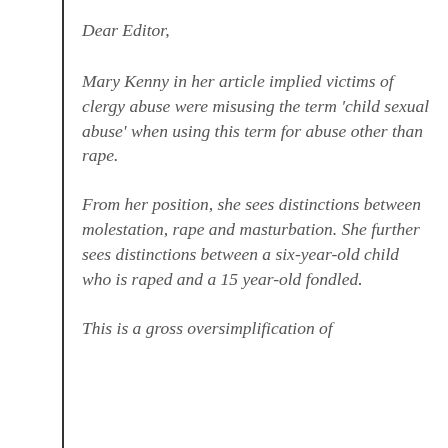Dear Editor,
Mary Kenny in her article implied victims of clergy abuse were misusing the term ‘child sexual abuse’ when using this term for abuse other than rape.
From her position, she sees distinctions between molestation, rape and masturbation. She further sees distinctions between a six-year-old child who is raped and a 15 year-old fondled.
This is a gross oversimplification of